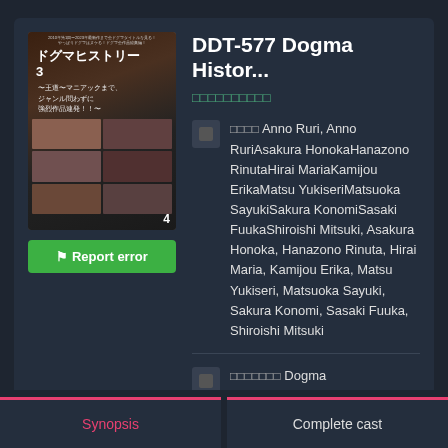[Figure (photo): DVD cover art for DDT-577 Dogma History showing Japanese text title ドグマヒストリー3 with subtitle text and a collage of photos]
DDT-577 Dogma Histor...
□□□□□□□□□□
□□□□ Anno Ruri, Anno RuriAsakura HonokaHanazono RinutaHirai MariaKamijou ErikaMatsu YukiseriMatsuoka SayukiSakura KonomiSasaki FuukaShiroishi Mitsuki, Asakura Honoka, Hanazono Rinuta, Hirai Maria, Kamijou Erika, Matsu Yukiseri, Matsuoka Sayuki, Sakura Konomi, Sasaki Fuuka, Shiroishi Mitsuki
□□□□□□□ Dogma
Synopsis
Complete cast